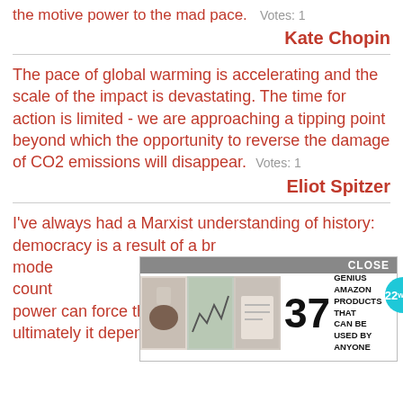the motive power to the mad pace.   Votes: 1
Kate Chopin
The pace of global warming is accelerating and the scale of the impact is devastating. The time for action is limited - we are approaching a tipping point beyond which the opportunity to reverse the damage of CO2 emissions will disappear.   Votes: 1
Eliot Spitzer
I've always had a Marxist understanding of history: democracy is a result of a broad mode... every count... power can force the pace of change, but ultimately it depends on societies doing it
[Figure (screenshot): Advertisement overlay with CLOSE button, images of coffee cup and papers, number 37, text 'GENIUS AMAZON PRODUCTS THAT CAN BE USED BY ANYONE', and a teal circular logo with '22 WORDS']